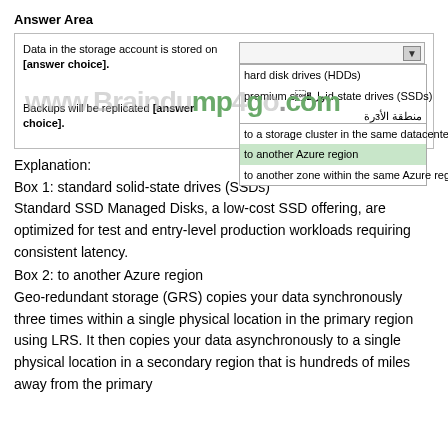Answer Area
[Figure (screenshot): Interactive answer area with two dropdown questions. First dropdown: 'Data in the storage account is stored on [answer choice].' with options: hard disk drives (HDDs), premium solid-state drives (SSDs), [Arabic text row]. Second dropdown: 'Backups will be replicated [answer choice].' with options: to a storage cluster in the same datacenter, to another Azure region (highlighted), to another zone within the same Azure region. A watermark reads 'www.Braindump4go.com'.]
Explanation:
Box 1: standard solid-state drives (SSDs)
Standard SSD Managed Disks, a low-cost SSD offering, are optimized for test and entry-level production workloads requiring consistent latency.
Box 2: to another Azure region
Geo-redundant storage (GRS) copies your data synchronously three times within a single physical location in the primary region using LRS. It then copies your data asynchronously to a single physical location in a secondary region that is hundreds of miles away from the primary